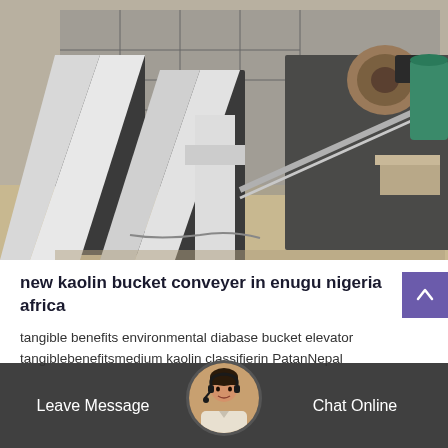[Figure (photo): Industrial kaolin bucket conveyor/elevator equipment photographed outdoors at a facility. Multiple large metal conveyor units with white and dark grey components visible, with industrial buildings in background.]
new kaolin bucket conveyer in enugu nigeria africa
tangible benefits environmental diabase bucket elevator tangiblebenefitsmedium kaolin classifierin PatanNepal